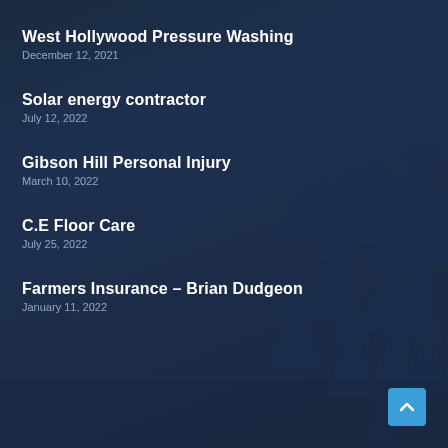West Hollywood Pressure Washing
December 12, 2021
Solar energy contractor
July 12, 2022
Gibson Hill Personal Injury
March 10, 2022
C.E Floor Care
July 25, 2022
Farmers Insurance – Brian Dudgeon
January 11, 2022